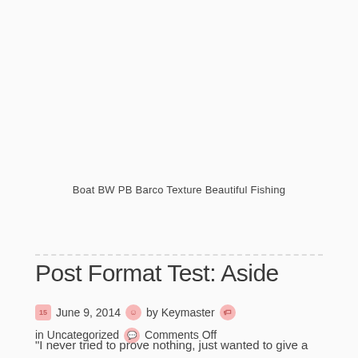Boat BW PB Barco Texture Beautiful Fishing
Post Formats
Post Format Test: Aside
June 9, 2014  by Keymaster  in Uncategorized  Comments Off
“I never tried to prove nothing, just wanted to give a good show. My life has always been my music, it’s always come first, but the